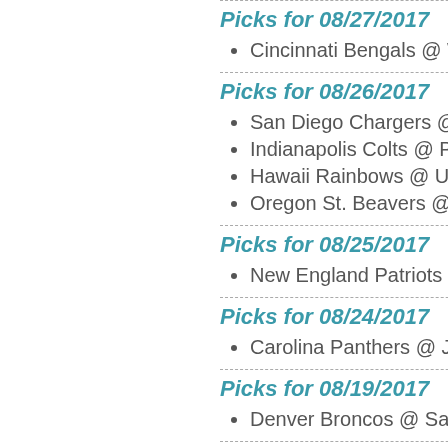Picks for 08/27/2017
Cincinnati Bengals @ Was…
Picks for 08/26/2017
San Diego Chargers @ Los…
Indianapolis Colts @ Pittsb…
Hawaii Rainbows @ UMas…
Oregon St. Beavers @ Col…
Picks for 08/25/2017
New England Patriots @ D…
Picks for 08/24/2017
Carolina Panthers @ Jacks…
Picks for 08/19/2017
Denver Broncos @ San Fra…
Picks for 08/18/2017
Minnesota Vikings @ Seatt…
Picks for 08/17/2017
Buffalo Bills @ Philadelphia…
Picks for 02/05/2017
New England Patriots @ A…